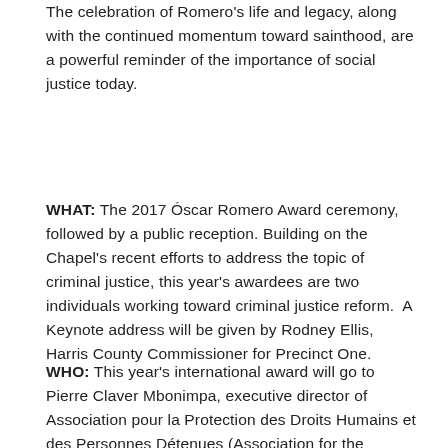The celebration of Romero's life and legacy, along with the continued momentum toward sainthood, are a powerful reminder of the importance of social justice today.
WHAT: The 2017 Óscar Romero Award ceremony, followed by a public reception. Building on the Chapel's recent efforts to address the topic of criminal justice, this year's awardees are two individuals working toward criminal justice reform. A Keynote address will be given by Rodney Ellis, Harris County Commissioner for Precinct One.
WHO: This year's international award will go to Pierre Claver Mbonimpa, executive director of Association pour la Protection des Droits Humains et des Personnes Détenues (Association for the Protection of Prisoners and Human Rights – APRODH) in Burundi. Under his leadership, the organization documents and reports on human rights violations -- with an emphasis